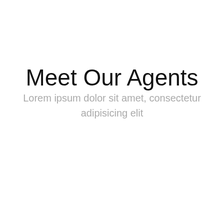Meet Our Agents
Lorem ipsum dolor sit amet, consectetur adipisicing elit